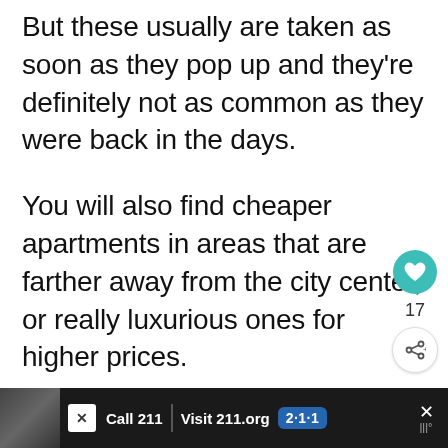But these usually are taken as soon as they pop up and they're definitely not as common as they were back in the days.
You will also find cheaper apartments in areas that are farther away from the city center, or really luxurious ones for higher prices.
[Figure (screenshot): UI interaction buttons: heart/like button (teal circle with heart icon), like count '17', share button (white circle with share icon)]
[Figure (screenshot): Advertisement banner at bottom: dark background with photo of person, text 'Call 211 | Visit 211.org' with blue 2-1-1 badge, close buttons]